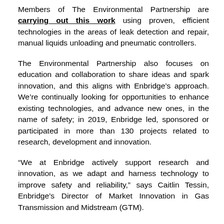Members of The Environmental Partnership are carrying out this work using proven, efficient technologies in the areas of leak detection and repair, manual liquids unloading and pneumatic controllers.
The Environmental Partnership also focuses on education and collaboration to share ideas and spark innovation, and this aligns with Enbridge’s approach. We’re continually looking for opportunities to enhance existing technologies, and advance new ones, in the name of safety; in 2019, Enbridge led, sponsored or participated in more than 130 projects related to research, development and innovation.
“We at Enbridge actively support research and innovation, as we adapt and harness technology to improve safety and reliability,” says Caitlin Tessin, Enbridge’s Director of Market Innovation in Gas Transmission and Midstream (GTM).